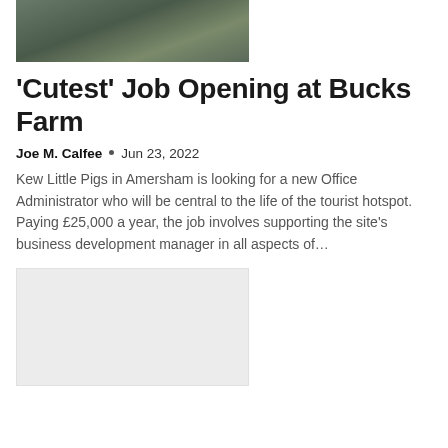[Figure (photo): Woman holding a small pig up to her face outdoors]
'Cutest' Job Opening at Bucks Farm
Joe M. Calfee  •  Jun 23, 2022
Kew Little Pigs in Amersham is looking for a new Office Administrator who will be central to the life of the tourist hotspot. Paying £25,000 a year, the job involves supporting the site's business development manager in all aspects of...
[Figure (photo): Light gray placeholder image rectangle]